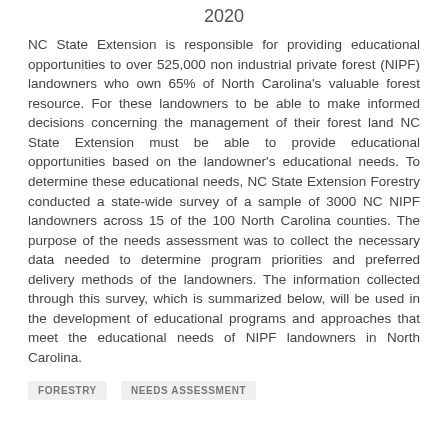2020
NC State Extension is responsible for providing educational opportunities to over 525,000 non industrial private forest (NIPF) landowners who own 65% of North Carolina's valuable forest resource. For these landowners to be able to make informed decisions concerning the management of their forest land NC State Extension must be able to provide educational opportunities based on the landowner's educational needs. To determine these educational needs, NC State Extension Forestry conducted a state-wide survey of a sample of 3000 NC NIPF landowners across 15 of the 100 North Carolina counties. The purpose of the needs assessment was to collect the necessary data needed to determine program priorities and preferred delivery methods of the landowners. The information collected through this survey, which is summarized below, will be used in the development of educational programs and approaches that meet the educational needs of NIPF landowners in North Carolina.
FORESTRY
NEEDS ASSESSMENT